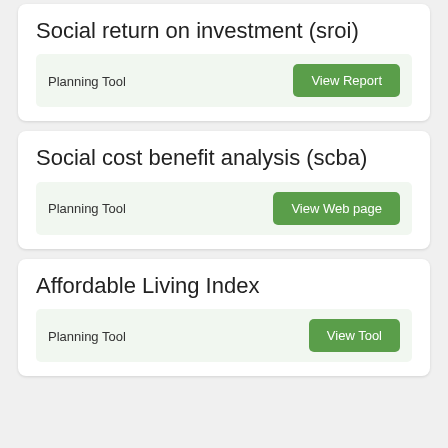Social return on investment (sroi)
Planning Tool
Social cost benefit analysis (scba)
Planning Tool
Affordable Living Index
Planning Tool